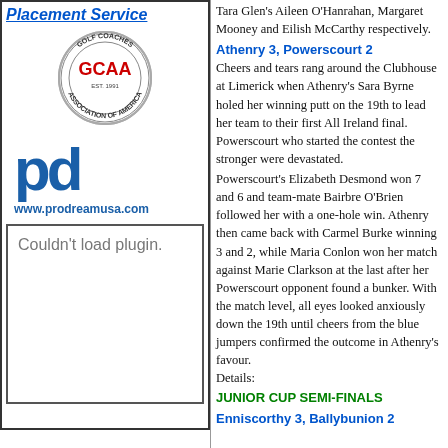[Figure (logo): Placement Service logo with GCAA golf coaches association circular emblem]
[Figure (logo): pd logo in blue with www.prodreamusa.com URL]
Tara Glen's Aileen O'Hanrahan, Margaret Mooney and Eilish McCarthy respectively.
Athenry 3, Powerscourt 2
Cheers and tears rang around the Clubhouse at Limerick when Athenry's Sara Byrne holed her winning putt on the 19th to lead her team to their first All Ireland final. Powerscourt who started the contest the stronger were devastated.
Powerscourt's Elizabeth Desmond won 7 and 6 and team-mate Bairbre O'Brien followed her with a one-hole win. Athenry then came back with Carmel Burke winning 3 and 2, while Maria Conlon won her match against Marie Clarkson at the last after her Powerscourt opponent found a bunker. With the match level, all eyes looked anxiously down the 19th until cheers from the blue jumpers confirmed the outcome in Athenry's favour.
Details:
JUNIOR CUP SEMI-FINALS
[Figure (other): Couldn't load plugin placeholder box]
Enniscorthy 3, Ballybunion 2
Margaret Mooney (9) lost to Margaret McAuliffe (8) 3 and 1.
Jennifer King (9) bt Nora Quaid (10) 3 and 2.
Catriona Hogan (10) lost to Pat Joyce (12) 5 and 4.